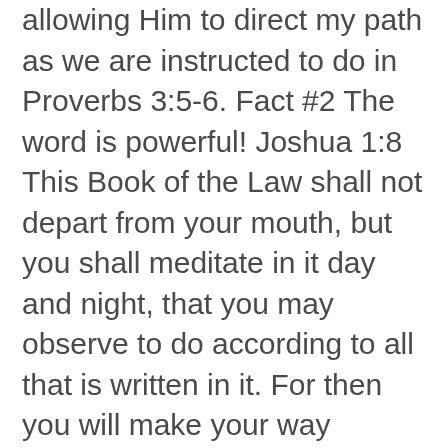allowing Him to direct my path as we are instructed to do in Proverbs 3:5-6. Fact #2 The word is powerful! Joshua 1:8 This Book of the Law shall not depart from your mouth, but you shall meditate in it day and night, that you may observe to do according to all that is written in it. For then you will make your way prosperous, and then you will have good success.
Here we have some very clear and profound instructions: speak the word, meditate on the word, and do the word… and then your way will be prosperous, and then you will have success. The word prosperous here